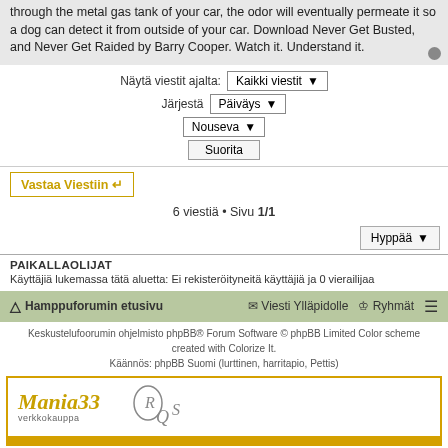through the metal gas tank of your car, the odor will eventually permeate it so a dog can detect it from outside of your car. Download Never Get Busted, and Never Get Raided by Barry Cooper. Watch it. Understand it.
Näytä viestit ajalta: Kaikki viestit
Järjestä Päiväys
Nouseva
Suorita
Vastaa Viestiin
6 viestiä • Sivu 1/1
Hyppää
PAIKALLAOLIJAT
Käyttäjiä lukemassa tätä aluetta: Ei rekisteröityneitä käyttäjiä ja 0 vierailijaa
Hamppuforumin etusivu   Viesti Ylläpidolle   Ryhmät
Keskustelufoorumin ohjelmisto phpBB® Forum Software © phpBB Limited Color scheme created with Colorize It. Käännös: phpBB Suomi (lurttinen, harritapio, Pettis)
[Figure (logo): Advertisement banner with Mania33 verkkokauppa logo and RQS logo on white background with gold border]